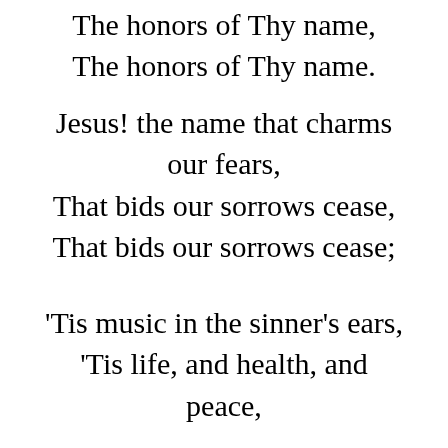The honors of Thy name,
The honors of Thy name.
Jesus! the name that charms our fears,
That bids our sorrows cease,
That bids our sorrows cease;
'Tis music in the sinner's ears,
'Tis life, and health, and peace,